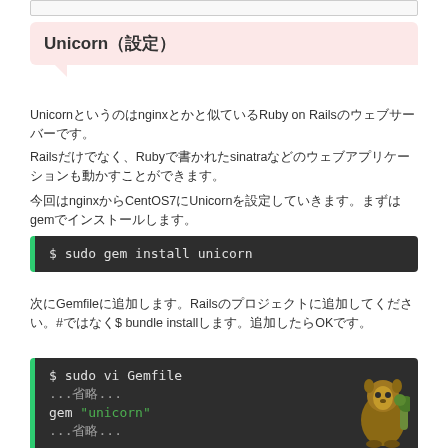Unicorn（設定）
Unicornというのはnginxとかと似ているRuby on Railsのウェブサーバーです。
Railsだけでなく、Rubyで書かれたsinatraなどのウェブアプリケーションも動かすことができます。
今回はnginxからCentOS7にUnicornを設定していきます。まずはgemでインストールします。
$ sudo gem install unicorn
次にGemfileに追加します。Railsのプロジェクトに追加してください。#ではなく$ bundle installします。追加したらOKです。
$ sudo vi Gemfile
...省略...
gem "unicorn"
...省略...